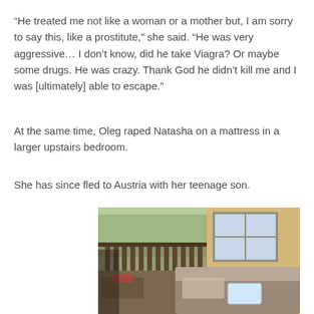“He treated me not like a woman or a mother but, I am sorry to say this, like a prostitute,” she said. “He was very aggressive… I don’t know, did he take Viagra? Or maybe some drugs. He was crazy. Thank God he didn’t kill me and I was [ultimately] able to escape.”
At the same time, Oleg raped Natasha on a mattress in a larger upstairs bedroom.
She has since fled to Austria with her teenage son.
[Figure (photo): Interior photo showing a room with a wooden railing/balcony area on the left with greenery visible through large windows, a yellow wall on the right with a white-framed window, a sofa or couch with fabric items, and a white basin or container.]